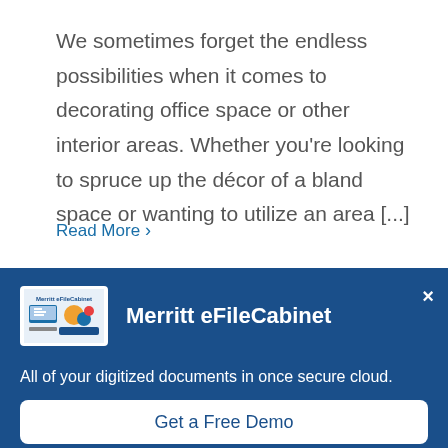We sometimes forget the endless possibilities when it comes to decorating office space or other interior areas. Whether you're looking to spruce up the décor of a bland space or wanting to utilize an area [...]
Read More ›
[Figure (screenshot): Merritt eFileCabinet advertisement banner with logo, title, subtitle and CTA button]
Merritt eFileCabinet
All of your digitized documents in once secure cloud.
Get a Free Demo